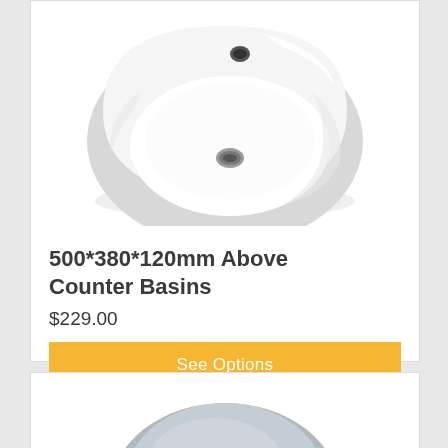[Figure (photo): White ceramic above counter basin, rounded square shape, viewed from above at an angle, showing overflow hole and drain]
500*380*120mm Above Counter Basins
$229.00
See Options
[Figure (photo): Partial view of a second basin product, grey/blue rounded shape, cropped at bottom of page]